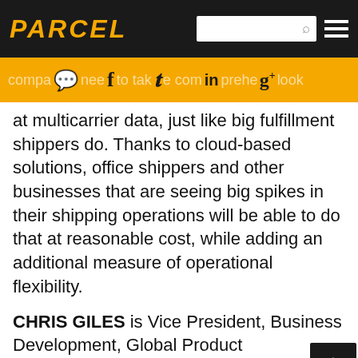PARCEL
[Figure (infographic): Social media sharing bar with icons for chat, Facebook, Twitter, LinkedIn, and Google+, on an orange background with partially visible text 'companies need to take a comprehensive look']
at multicarrier data, just like big fulfillment shippers do. Thanks to cloud-based solutions, office shippers and other businesses that are seeing big spikes in their shipping operations will be able to do that at reasonable cost, while adding an additional measure of operational flexibility.
CHRIS GILES is Vice President, Business Development, Global Product Management, Pitney Bowes.